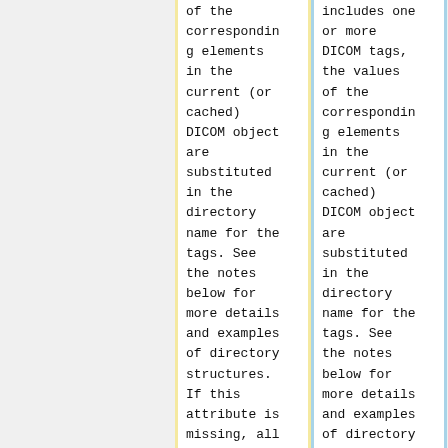| of the corresponding elements in the current (or cached) DICOM object are substituted in the directory name for the tags. See the notes below for more details and examples of directory structures. If this attribute is missing, all | includes one or more DICOM tags, the values of the corresponding elements in the current (or cached) DICOM object are substituted in the directory name for the tags. See the notes below for more details and examples of directory |